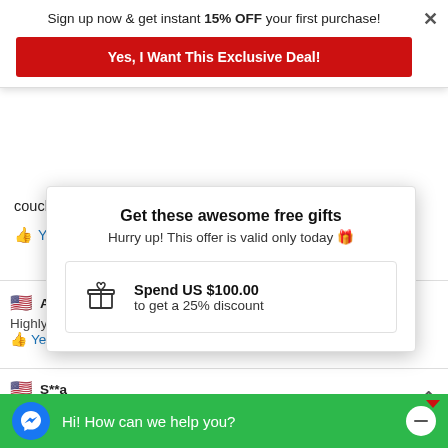Sign up now & get instant 15% OFF your first purchase!
Yes, I Want This Exclusive Deal!
couch and new chairs. It made the couch look good again.
Yes, I recommend this product
A*****w
Highly recomm
Yes, I reco
Get these awesome free gifts
Hurry up! This offer is valid only today 🎁
Spend US $100.00
to get a 25% discount
S**a
Easy to use on leather seats.
Yes, I recommend this product
Hi! How can we help you?